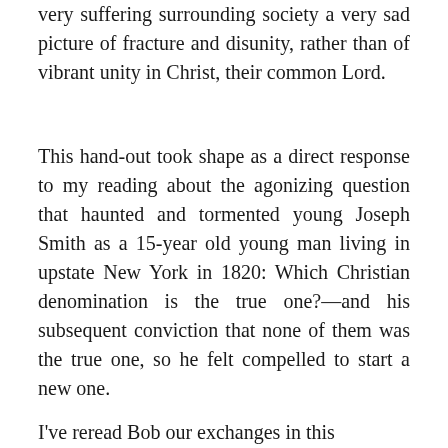very suffering surrounding society a very sad picture of fracture and disunity, rather than of vibrant unity in Christ, their common Lord.
This hand-out took shape as a direct response to my reading about the agonizing question that haunted and tormented young Joseph Smith as a 15-year old young man living in upstate New York in 1820: Which Christian denomination is the true one?—and his subsequent conviction that none of them was the true one, so he felt compelled to start a new one.
I've reread Bob our exchanges in this